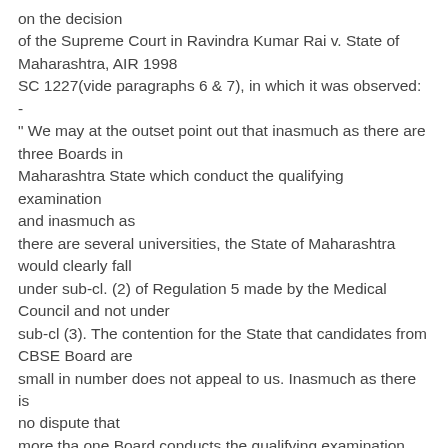on the decision of the Supreme Court in Ravindra Kumar Rai v. State of Maharashtra, AIR 1998 SC 1227(vide paragraphs 6 & 7), in which it was observed: - " We may at the outset point out that inasmuch as there are three Boards in Maharashtra State which conduct the qualifying examination and inasmuch as there are several universities, the State of Maharashtra would clearly fall under sub-cl. (2) of Regulation 5 made by the Medical Council and not under sub-cl (3). The contention for the State that candidates from CBSE Board are small in number does not appeal to us. Inasmuch as there is no dispute that more tha one Board conducts the qualifying examination and the Universities are more than one in number, Sub-clause (3) of Regulation 5, in our view, is not attracted. It is also not possible for the State to say that conducting a